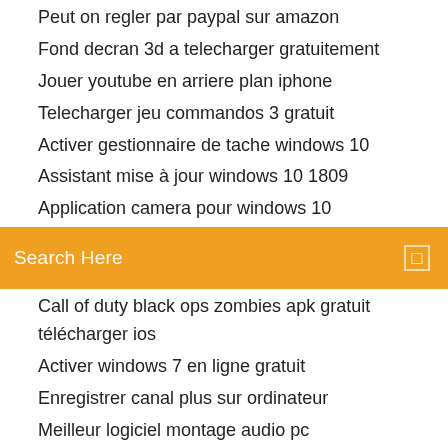Peut on regler par paypal sur amazon
Fond decran 3d a telecharger gratuitement
Jouer youtube en arriere plan iphone
Telecharger jeu commandos 3 gratuit
Activer gestionnaire de tache windows 10
Assistant mise à jour windows 10 1809
Application camera pour windows 10
[Figure (screenshot): Orange search bar with text 'Search Here' and a small square icon on the right]
Call of duty black ops zombies apk gratuit télécharger ios
Activer windows 7 en ligne gratuit
Enregistrer canal plus sur ordinateur
Meilleur logiciel montage audio pc
Comment créer un disque de réparation système windows 8.1
Comment sinscrire gratuitement dans les pages jaunes
Can you watch google play movies on pc
Pourquoi etre bloqué sur facebook
Gmail app for macbook pro